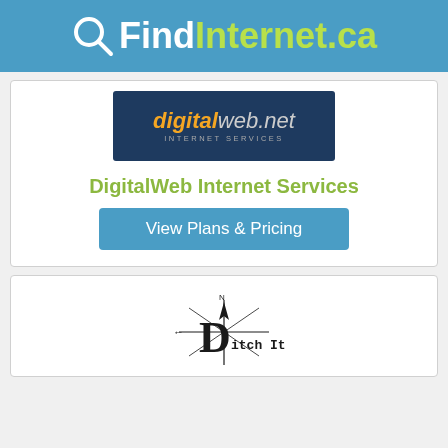QFindInternet.ca
[Figure (logo): digitalweb.net Internet Services logo — dark navy background with orange italic 'digital' and grey 'web.net' text with 'INTERNET SERVICES' subtitle]
DigitalWeb Internet Services
View Plans & Pricing
[Figure (logo): Ditch It Canada logo — compass rose with bold D letter and 'itch It Canada' text]